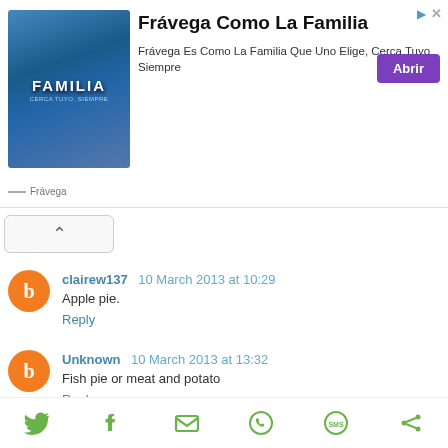[Figure (advertisement): Frávega Como La Familia advertisement banner with image, title, description and purple Abrir button]
clairew137 10 March 2013 at 10:29
Apple pie.
Reply
Unknown 10 March 2013 at 13:32
Fish pie or meat and potato
Reply
tamalyn 10 March 2013 at 13:37
[Figure (infographic): Social media share icons: Twitter, Facebook, Email, WhatsApp, SMS, other]